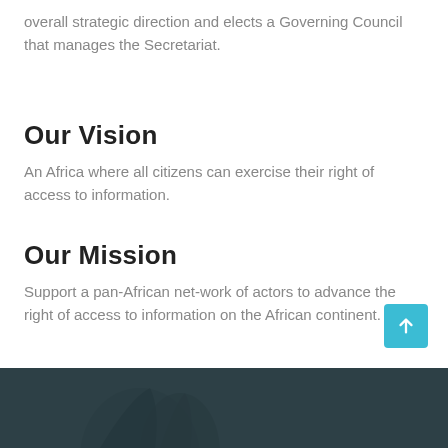overall strategic direction and elects a Governing Council that manages the Secretariat.
Our Vision
An Africa where all citizens can exercise their right of access to information.
Our Mission
Support a pan-African net-work of actors to advance the right of access to information on the African continent.
[Figure (photo): Dark-toned footer image with silhouette figure on left side, teal/dark background.]